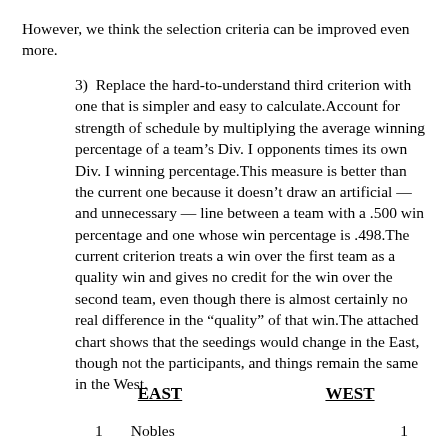However, we think the selection criteria can be improved even more.
3)  Replace the hard-to-understand third criterion with one that is simpler and easy to calculate.Account for strength of schedule by multiplying the average winning percentage of a team’s Div. I opponents times its own Div. I winning percentage.This measure is better than the current one because it doesn’t draw an artificial — and unnecessary — line between a team with a .500 win percentage and one whose win percentage is .498.The current criterion treats a win over the first team as a quality win and gives no credit for the win over the second team, even though there is almost certainly no real difference in the “quality” of that win.The attached chart shows that the seedings would change in the East, though not the participants, and things remain the same in the West.
EAST
WEST
1        Nobles        1